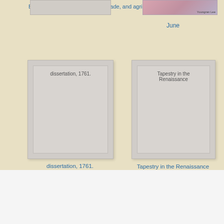[Figure (illustration): Book cover thumbnail for Biosafety protocol book, gray placeholder]
Biosafety protocol, international trade, and agricultural biotechnology
[Figure (illustration): Book cover thumbnail for June with colorful illustration and author Youngran Lee]
June
[Figure (illustration): Book cover placeholder for dissertation, 1761. Gray card with inner border]
dissertation, 1761.
[Figure (illustration): Book cover placeholder for Tapestry in the Renaissance. Gray card with inner border]
Tapestry in the Renaissance
Reading, writing and rhythm by Felice Kane Download